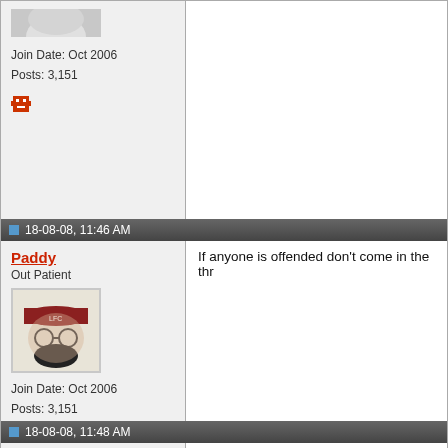Join Date: Oct 2006
Posts: 3,151
18-08-08, 11:46 AM
Paddy
Out Patient
Join Date: Oct 2006
Posts: 3,151
If anyone is offended don't come in the thr
18-08-08, 11:48 AM
Paddy
Out Patient
Why did the girl fall off the swing?

She had no arms